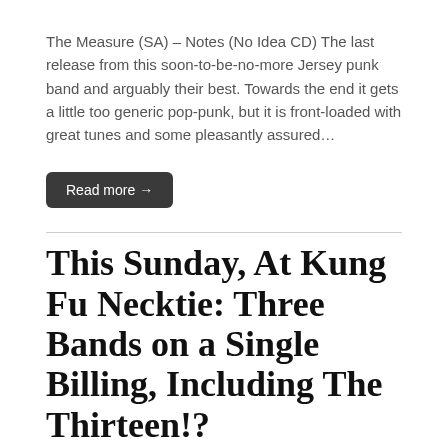The Measure (SA) – Notes (No Idea CD) The last release from this soon-to-be-no-more Jersey punk band and arguably their best. Towards the end it gets a little too generic pop-punk, but it is front-loaded with great tunes and some pleasantly assured…
Read more →
This Sunday, At Kung Fu Necktie: Three Bands on a Single Billing, Including The Thirteen!?
by Sal Cannestra • July 9, 2011 • 0 Comments
[Figure (photo): Photo of Pete Donnelly, black and white figure on pink background]
Hey Guys, If yer getting this you probably showed some interest in the